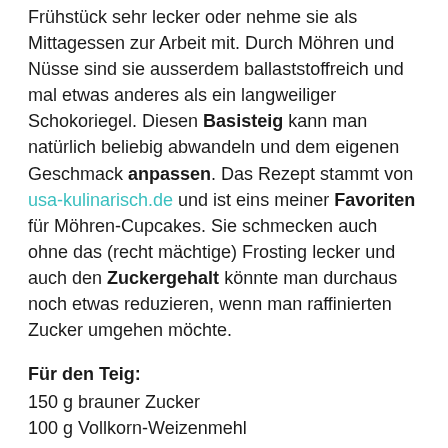Frühstück sehr lecker oder nehme sie als Mittagessen zur Arbeit mit. Durch Möhren und Nüsse sind sie ausserdem ballaststoffreich und mal etwas anderes als ein langweiliger Schokoriegel. Diesen Basisteig kann man natürlich beliebig abwandeln und dem eigenen Geschmack anpassen. Das Rezept stammt von usa-kulinarisch.de und ist eins meiner Favoriten für Möhren-Cupcakes. Sie schmecken auch ohne das (recht mächtige) Frosting lecker und auch den Zuckergehalt könnte man durchaus noch etwas reduzieren, wenn man raffinierten Zucker umgehen möchte.
Für den Teig:
150 g brauner Zucker
100 g Vollkorn-Weizenmehl
100 g Weizenmehl
je ½ TL Backpulver und Natron
½ TL Zimt
125 ml Öl
50 ml Orangensaft